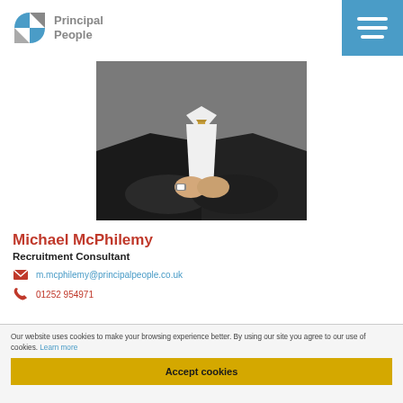[Figure (logo): Principal People logo — blue geometric icon with two opposing arrow/shield shapes, and gray text 'Principal People']
[Figure (photo): Professional photo of a man in a dark suit with a gold/tan tie, arms folded on a white table, gray background. Face not visible.]
Michael McPhilemy
Recruitment Consultant
m.mcphilemy@principalpeople.co.uk
01252 954971
Our website uses cookies to make your browsing experience better. By using our site you agree to our use of cookies. Learn more
Accept cookies